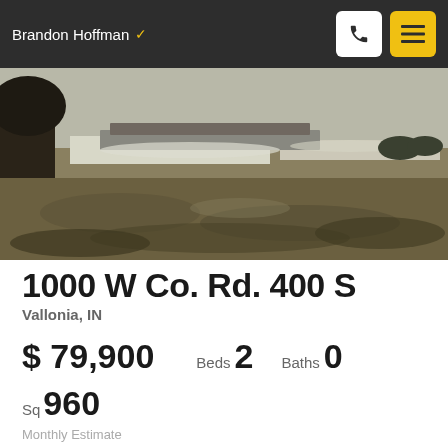Brandon Hoffman
[Figure (photo): Exterior photo of a rural property showing a yard with dry grass and patchy snow, a tree on the left, and a structure/deck visible in the background.]
1000 W Co. Rd. 400 S
Vallonia, IN
$ 79,900  Beds 2  Baths 0
Sq 960
Monthly Estimate